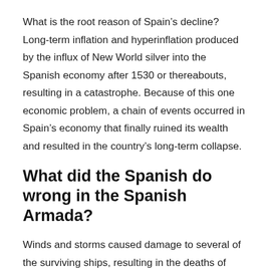What is the root reason of Spain's decline? Long-term inflation and hyperinflation produced by the influx of New World silver into the Spanish economy after 1530 or thereabouts, resulting in a catastrophe. Because of this one economic problem, a chain of events occurred in Spain's economy that finally ruined its wealth and resulted in the country's long-term collapse.
What did the Spanish do wrong in the Spanish Armada?
Winds and storms caused damage to several of the surviving ships, resulting in the deaths of hundreds of Spanish soldiers. Spanish Mistakes: To begin with, the Spanish did not adequately supply their ships. The